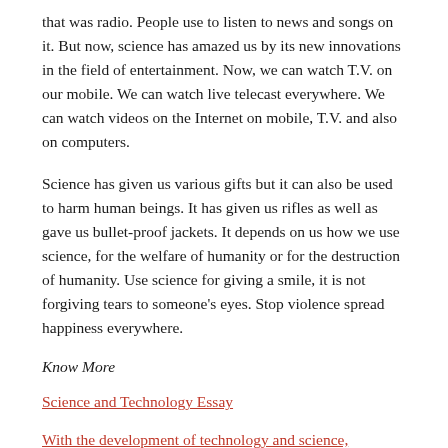that was radio. People use to listen to news and songs on it. But now, science has amazed us by its new innovations in the field of entertainment. Now, we can watch T.V. on our mobile. We can watch live telecast everywhere. We can watch videos on the Internet on mobile, T.V. and also on computers.
Science has given us various gifts but it can also be used to harm human beings. It has given us rifles as well as gave us bullet-proof jackets. It depends on us how we use science, for the welfare of humanity or for the destruction of humanity. Use science for giving a smile, it is not forgiving tears to someone's eyes. Stop violence spread happiness everywhere.
Know More
Science and Technology Essay
With the development of technology and science, some people believe that there is no great value of